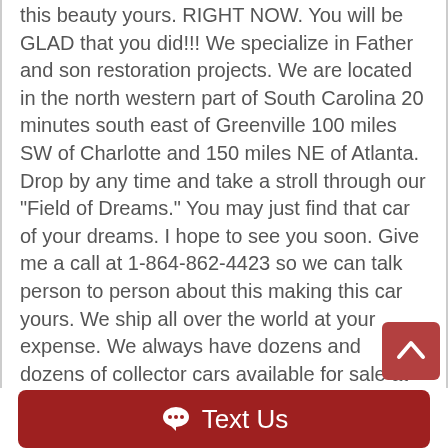this beauty yours. RIGHT NOW. You will be GLAD that you did!!! We specialize in Father and son restoration projects. We are located in the north western part of South Carolina 20 minutes south east of Greenville 100 miles SW of Charlotte and 150 miles NE of Atlanta. Drop by any time and take a stroll through our "Field of Dreams." You may just find that car of your dreams. I hope to see you soon. Give me a call at 1-864-862-4423 so we can talk person to person about this making this car yours. We ship all over the world at your expense. We always have dozens and dozens of collector cars available for sale at all times. Visit Classic Cars of S.C. Inc. online at www.classiccarofsc.com to see more pictures of this vehicle or call us at 864-862-4423 today to schedule a look at this classic. We have shipped to just about every state in the US and
[Figure (other): Dark red rounded rectangle button with upward-pointing chevron arrow (scroll to top button)]
[Figure (other): Dark red rounded rectangle bar with speech bubble icon and 'Text Us' label]